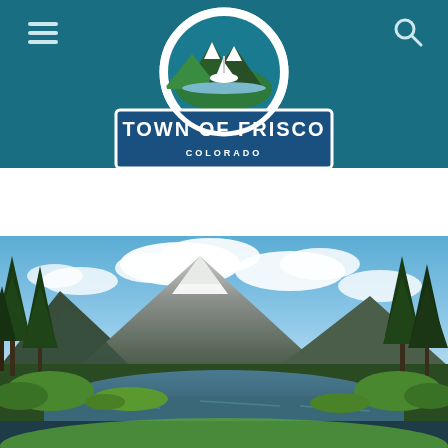[Figure (logo): Town of Frisco Colorado municipal logo with mountain and sailboat emblem inside a circle, with rectangular badge below reading TOWN OF FRISCO COLORADO on a teal/dark blue header bar]
[Figure (photo): Scenic landscape photo of Frisco, Colorado showing a lake in the foreground with evergreen trees on both sides and a snow-capped mountain in the background under a blue sky with clouds]